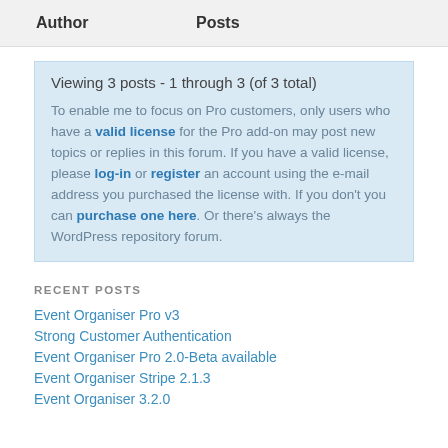Author    Posts
Viewing 3 posts - 1 through 3 (of 3 total)

To enable me to focus on Pro customers, only users who have a valid license for the Pro add-on may post new topics or replies in this forum. If you have a valid license, please log-in or register an account using the e-mail address you purchased the license with. If you don't you can purchase one here. Or there's always the WordPress repository forum.
RECENT POSTS
Event Organiser Pro v3
Strong Customer Authentication
Event Organiser Pro 2.0-Beta available
Event Organiser Stripe 2.1.3
Event Organiser 3.2.0